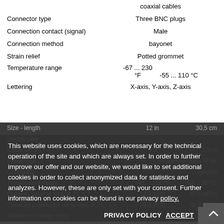| Property | Value |
| --- | --- |
|  | coaxial cables |
| Connector type | Three BNC plugs |
| Connection contact (signal) | Male |
| Connection method | bayonet |
| Strain relief | Potted grommet |
| Temperature range | -67 ... 230 °F   -55 ... 110 °C |
| Lettering | X-axis, Y-axis, Z-axis |
| Property | Value1 | Value2 |
| --- | --- | --- |
| Size - length | 12 in | 30,5 cm |
| electric wire |  |  |
| Cable length | 5 ft | 1,5 m |
| Cable type | Protection class IP 68 |  |
| Conductor | Twisted |  |
| Temperature range | -40 ... 125 °F | -50 ... 85 °C |
| Capacity (wire to wire at 21 °C) | 14,0 pF/ft | 47,0 pF/m |
| Capacity (conductor on screen at 21 °C) | 24,8 pF/ft | 81,0 pF/m |
| Maximum voltage (rms) | 169 V |  |
This website uses cookies, which are necessary for the technical operation of the site and which are always set. In order to further improve our offer and our website, we would like to set additional cookies in order to collect anonymized data for statistics and analyzes. However, these are only set with your consent. Further information on cookies can be found in our privacy policy.
PRIVACY POLICY   ACCEPT